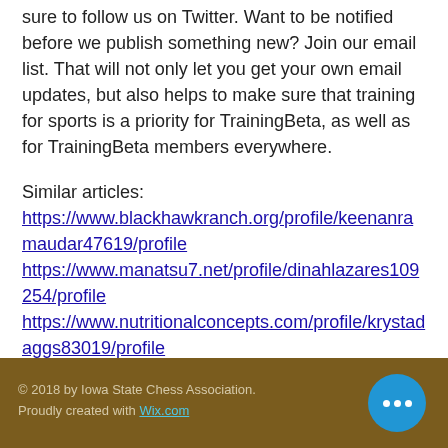sure to follow us on Twitter. Want to be notified before we publish something new? Join our email list. That will not only let you get your own email updates, but also helps to make sure that training for sports is a priority for TrainingBeta, as well as for TrainingBeta members everywhere.
Similar articles: https://www.blackhawkranch.org/profile/keenanramaudar47619/profile https://www.manatsu7.net/profile/dinahlazares109254/profile https://www.nutritionalconcepts.com/profile/krystadaggs83019/profile https://www.oichawaii.org/profile/stanfordperessini185116/profile
© 2018 by Iowa State Chess Association. Proudly created with Wix.com